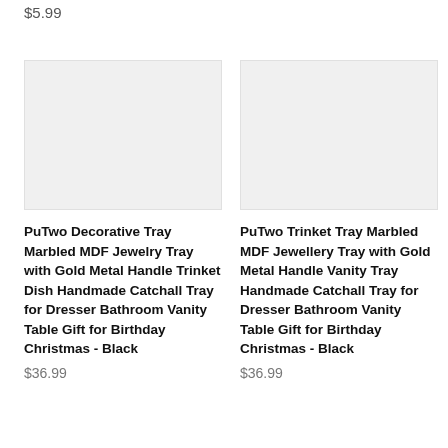$5.99
[Figure (photo): Product image placeholder (light gray box) for PuTwo Decorative Tray]
PuTwo Decorative Tray Marbled MDF Jewelry Tray with Gold Metal Handle Trinket Dish Handmade Catchall Tray for Dresser Bathroom Vanity Table Gift for Birthday Christmas - Black
$36.99
[Figure (photo): Product image placeholder (light gray box) for PuTwo Trinket Tray]
PuTwo Trinket Tray Marbled MDF Jewellery Tray with Gold Metal Handle Vanity Tray Handmade Catchall Tray for Dresser Bathroom Vanity Table Gift for Birthday Christmas - Black
$36.99